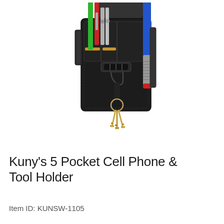[Figure (photo): A black Kuny's 5 Pocket Cell Phone & Tool Holder shown filled with tools including pens/markers (red, green), utility knife blades, a blue/silver flashlight, and keys hanging from a D-ring clip. The holster has a flip-top flap and belt clip attachment.]
Kuny's 5 Pocket Cell Phone & Tool Holder
Item ID: KUNSW-1105